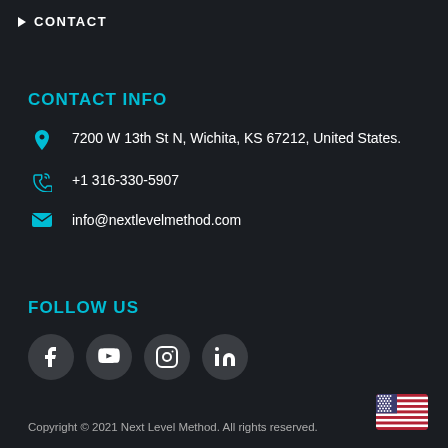CONTACT
CONTACT INFO
7200 W 13th St N, Wichita, KS 67212, United States.
+1 316-330-5907
info@nextlevelmethod.com
FOLLOW US
[Figure (illustration): Social media icon buttons: Facebook, YouTube, Instagram, LinkedIn]
Copyright © 2021 Next Level Method. All rights reserved.